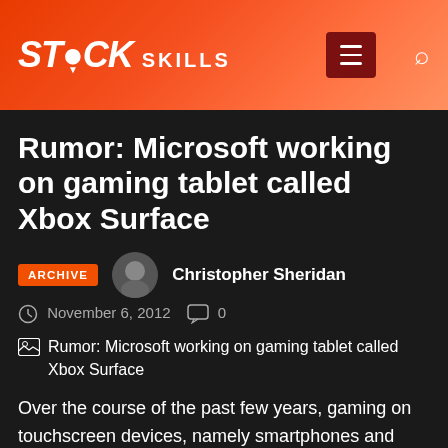STICK SKILLS
Rumor: Microsoft working on gaming tablet called Xbox Surface
ARCHIVE
Christopher Sheridan
November 6, 2012   0
[Figure (illustration): Thumbnail image placeholder for article about Rumor: Microsoft working on gaming tablet called Xbox Surface]
Over the course of the past few years, gaming on touchscreen devices, namely smartphones and tablets, has become  enormously popular. In lieu of